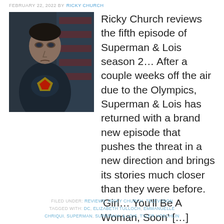FEBRUARY 22, 2022 BY RICKY CHURCH
[Figure (photo): A man wearing a dark Superman costume standing in front of an American flag background, looking serious directly at the camera.]
Ricky Church reviews the fifth episode of Superman & Lois season 2… After a couple weeks off the air due to the Olympics, Superman & Lois has returned with a brand new episode that pushes the threat in a new direction and brings its stories much closer than they were before. 'Girl… You'll Be A Woman, Soon' […]
FILED UNDER: REVIEWS, RICKY CHURCH, TELEVISION
TAGGED WITH: DC, ELIZABETH TULLOCH, EMMANUELLE CHRIQUI, SUPERMAN, SUPERMAN & LOIS, TYLER HOECHLIN